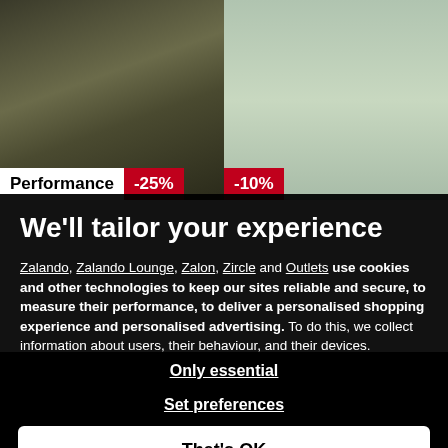[Figure (photo): Top-left product image showing black hiking boots on ground with grass and dirt. Has 'Performance' label and '-25%' discount badge at bottom.]
[Figure (photo): Top-right product image showing a light green/sage pullover/sweatshirt. Has '-10%' discount badge at bottom left.]
We'll tailor your experience
Zalando, Zalando Lounge, Zalon, Zircle and Outlets use cookies and other technologies to keep our sites reliable and secure, to measure their performance, to deliver a personalised shopping experience and personalised advertising. To do this, we collect information about users, their behaviour, and their devices.
If you select "That's OK", you accept this and agree that we may share this information with third parties, such as our marketing partners.
Only essential
Set preferences
That's OK